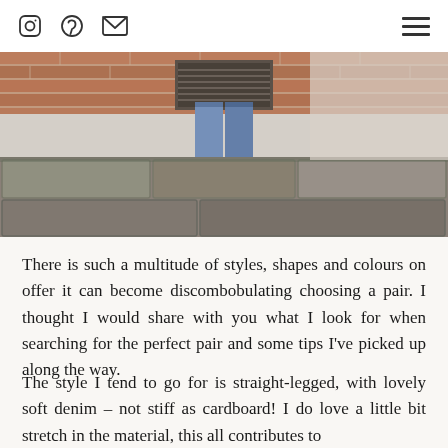[Instagram icon] [Pinterest icon] [Email icon]  [Hamburger menu]
[Figure (photo): A photo showing a person's feet/lower legs wearing brown ankle boots and blue jeans, standing on a cobblestone pavement with a brick wall in the background.]
There is such a multitude of styles, shapes and colours on offer it can become discombobulating choosing a pair.  I thought I would share with you what I look for when searching for the perfect pair and some tips I've picked up along the way.
The style I tend to go for is straight-legged, with lovely soft denim – not stiff as cardboard!  I do love a little bit stretch in the material,  this all contributes to